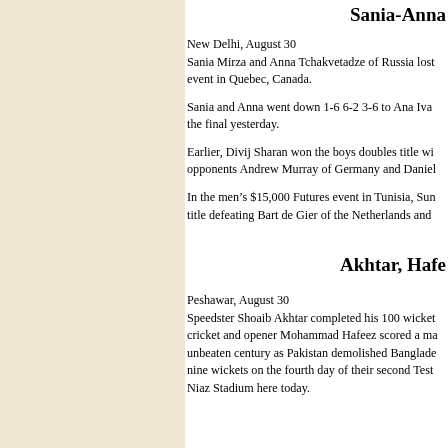Sania-Anna
New Delhi, August 30
Sania Mirza and Anna Tchakvetadze of Russia lost event in Quebec, Canada.
Sania and Anna went down 1-6 6-2 3-6 to Ana Iva the final yesterday.
Earlier, Divij Sharan won the boys doubles title wi opponents Andrew Murray of Germany and Daniel
In the men’s $15,000 Futures event in Tunisia, Sun title defeating Bart de Gier of the Netherlands and
Akhtar, Hafe
Peshawar, August 30
Speedster Shoaib Akhtar completed his 100 wicket cricket and opener Mohammad Hafeez scored a ma unbeaten century as Pakistan demolished Banglade nine wickets on the fourth day of their second Test Niaz Stadium here today.